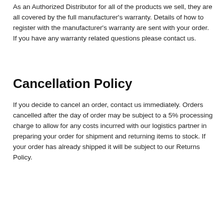As an Authorized Distributor for all of the products we sell, they are all covered by the full manufacturer's warranty. Details of how to register with the manufacturer's warranty are sent with your order. If you have any warranty related questions please contact us.
Cancellation Policy
If you decide to cancel an order, contact us immediately. Orders cancelled after the day of order may be subject to a 5% processing charge to allow for any costs incurred with our logistics partner in preparing your order for shipment and returning items to stock. If your order has already shipped it will be subject to our Returns Policy.
Useful Information
Questions & Answers